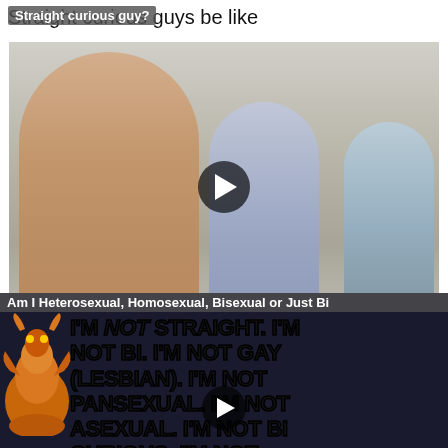Straight curious guys be like
[Figure (photo): Video thumbnail showing the 'distracted boyfriend' meme — a muscular shirtless man on the left, a man in a plaid shirt in the middle looking over his shoulder, and a woman on the right looking disapprovingly, in an outdoor urban setting. A play button overlay is centered on the image.]
As for the panic attacks and general anxiety, see my comments from earlier.
[Figure (photo): Video thumbnail with dark background showing stylized bold text reading: I'M NOT STRAIGHT. I'M NOT BI. I'M NOT GAY (LESBIAN). I'M NOT PANSEXUAL. I'M NOT ASEXUAL. I'M NOT BI CURIOUS. I'M NOT — with an orange dragon illustration on the left side. A play button is centered. An overlay badge reads: Am I Heterosexual, Homosexual, Bisexual or Just Bi]